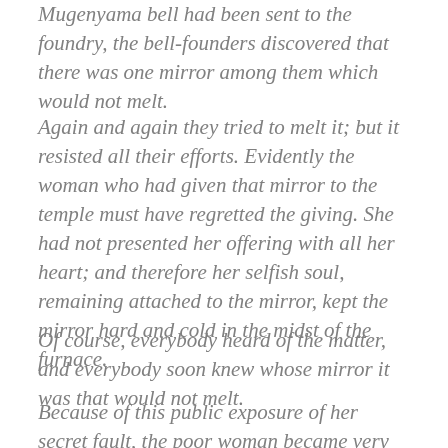Mugenyama bell had been sent to the foundry, the bell-founders discovered that there was one mirror among them which would not melt.
Again and again they tried to melt it; but it resisted all their efforts. Evidently the woman who had given that mirror to the temple must have regretted the giving. She had not presented her offering with all her heart; and therefore her selfish soul, remaining attached to the mirror, kept the mirror hard and cold in the midst of the furnace.
Of course, everybody heard of the matter, and everybody soon knew whose mirror it was that would not melt.
Because of this public exposure of her secret fault, the poor woman became very much ashamed and very